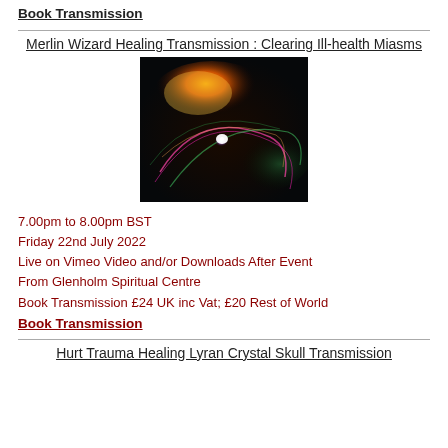Book Transmission
Merlin Wizard Healing Transmission : Clearing Ill-health Miasms
[Figure (photo): A cosmic or mystical energy image showing swirling orange, yellow, green, and magenta light trails against a dark background, resembling a nebula or energy vortex with a bright central flash.]
7.00pm to 8.00pm BST
Friday 22nd July 2022
Live on Vimeo Video and/or Downloads After Event
From Glenholm Spiritual Centre
Book Transmission £24 UK inc Vat; £20 Rest of World
Book Transmission
Hurt Trauma Healing Lyran Crystal Skull Transmission